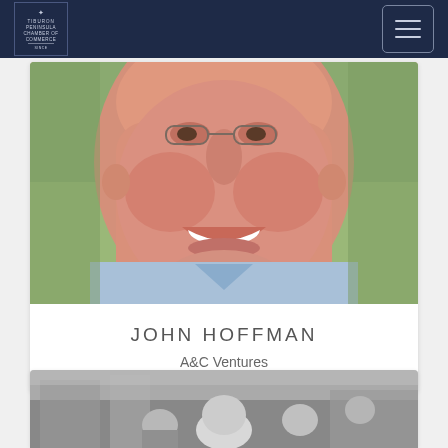Tiburon Peninsula Chamber of Commerce
[Figure (photo): Close-up portrait photo of a smiling middle-aged man with short hair, wearing a light blue collared shirt, taken outdoors with green foliage in background]
JOHN HOFFMAN
A&C Ventures
[Figure (photo): Black and white photo partially visible, showing people at what appears to be an outdoor event]